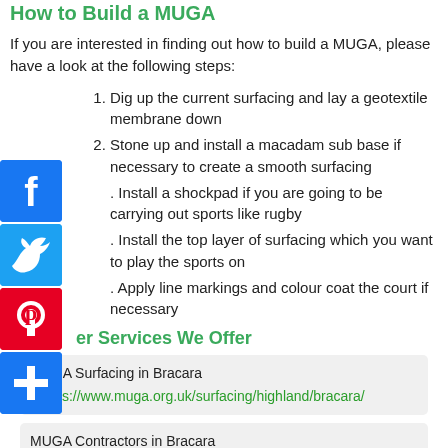How to Build a MUGA
If you are interested in finding out how to build a MUGA, please have a look at the following steps:
Dig up the current surfacing and lay a geotextile membrane down
Stone up and install a macadam sub base if necessary to create a smooth surfacing
Install a shockpad if you are going to be carrying out sports like rugby
Install the top layer of surfacing which you want to play the sports on
Apply line markings and colour coat the court if necessary
Other Services We Offer
MUGA Surfacing in Bracara
- https://www.muga.org.uk/surfacing/highland/bracara/
MUGA Contractors in Bracara
- https://www.muga.org.uk/contractors/highland/bracara/